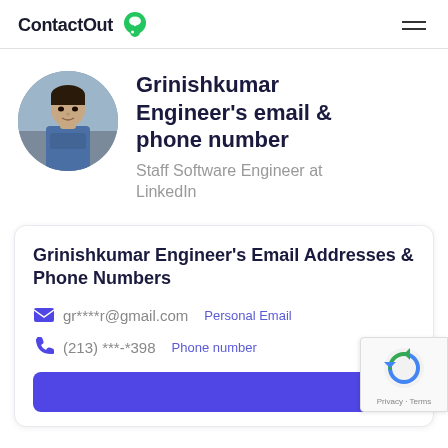ContactOut
Grinishkumar Engineer's email & phone number
Staff Software Engineer at LinkedIn
Grinishkumar Engineer's Email Addresses & Phone Numbers
gr****r@gmail.com  Personal Email
(213) ***-*398  Phone number